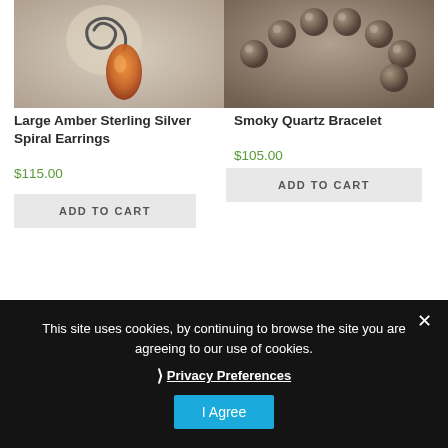[Figure (photo): Product photo of Large Amber Sterling Silver Spiral Earrings - spiral silver wire with orange amber pendant on white background]
[Figure (photo): Product photo of Smoky Quartz Bracelet - dark smoky translucent round beads bracelet on grey background]
Large Amber Sterling Silver Spiral Earrings
$115.00
ADD TO CART
Smoky Quartz Bracelet
$105.00
ADD TO CART
This site uses cookies, by continuing to browse the site you are agreeing to our use of cookies.
Privacy Preferences
I Agree